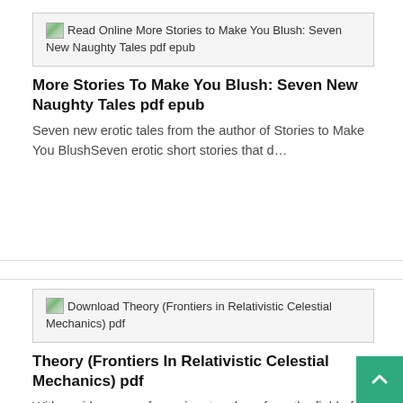[Figure (other): Broken image placeholder with alt text: Read Online More Stories to Make You Blush: Seven New Naughty Tales pdf epub]
More Stories To Make You Blush: Seven New Naughty Tales pdf epub
Seven new erotic tales from the author of Stories to Make You BlushSeven erotic short stories that d...
[Figure (other): Broken image placeholder with alt text: Download Theory (Frontiers in Relativistic Celestial Mechanics) pdf]
Theory (Frontiers In Relativistic Celestial Mechanics) pdf
With a wide range of prominent authors from the field of relativistic celestial mechanics, this firs...